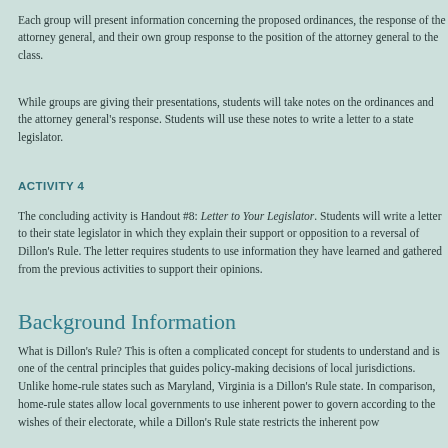Each group will present information concerning the proposed ordinances, the response of the attorney general, and their own group response to the position of the attorney general to the class.
While groups are giving their presentations, students will take notes on the ordinances and the attorney general's response. Students will use these notes to write a letter to a state legislator.
ACTIVITY 4
The concluding activity is Handout #8: Letter to Your Legislator. Students will write a letter to their state legislator in which they explain their support or opposition to a reversal of Dillon's Rule. The letter requires students to use information they have learned and gathered from the previous activities to support their opinions.
Background Information
What is Dillon's Rule? This is often a complicated concept for students to understand and is one of the central principles that guides policy-making decisions of local jurisdictions. Unlike home-rule states such as Maryland, Virginia is a Dillon's Rule state. In comparison, home-rule states allow local governments to use inherent power to govern according to the wishes of their electorate, while a Dillon's Rule state restricts the inherent pow